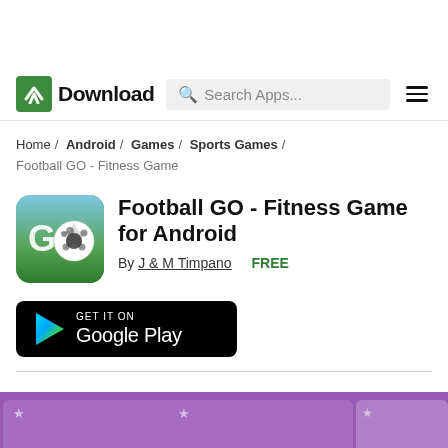Download — Search Apps...
Home / Android / Games / Sports Games / Football GO - Fitness Game
Football GO - Fitness Game for Android
By J & M Timpano   FREE
[Figure (logo): Get it on Google Play button, black rounded rectangle with Google Play logo and text]
[Figure (screenshot): Purple background app screenshots strip at bottom]